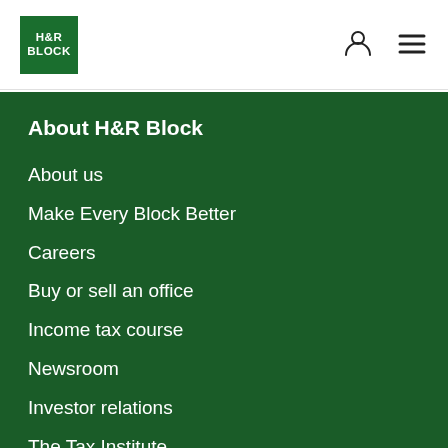[Figure (logo): H&R Block green square logo with white text]
About H&R Block
About us
Make Every Block Better
Careers
Buy or sell an office
Income tax course
Newsroom
Investor relations
The Tax Institute